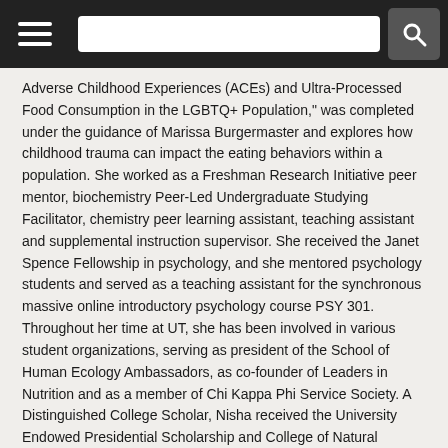Navigation header with hamburger menu and search bar
Adverse Childhood Experiences (ACEs) and Ultra-Processed Food Consumption in the LGBTQ+ Population," was completed under the guidance of Marissa Burgermaster and explores how childhood trauma can impact the eating behaviors within a population. She worked as a Freshman Research Initiative peer mentor, biochemistry Peer-Led Undergraduate Studying Facilitator, chemistry peer learning assistant, teaching assistant and supplemental instruction supervisor. She received the Janet Spence Fellowship in psychology, and she mentored psychology students and served as a teaching assistant for the synchronous massive online introductory psychology course PSY 301. Throughout her time at UT, she has been involved in various student organizations, serving as president of the School of Human Ecology Ambassadors, as co-founder of Leaders in Nutrition and as a member of Chi Kappa Phi Service Society. A Distinguished College Scholar, Nisha received the University Endowed Presidential Scholarship and College of Natural Sciences (CNS) Excellence Award. Nisha will pursue a J.D. at the University of Virginia Law School on a merit scholarship.
Ronak Desai
Distinction in Research. Graduating with a B.S. in Biochemistry and an Honors
[Figure (photo): Partial photo of a person (Ronak Desai) visible at bottom right]